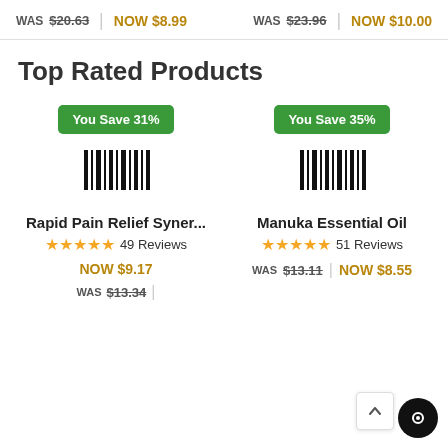WAS $20.63 | NOW $8.99 | WAS $23.96 | NOW $10.00
Top Rated Products
You Save 31%
You Save 35%
[Figure (other): Barcode icon for product 1]
[Figure (other): Barcode icon for product 2]
Rapid Pain Relief Syner...
★★★★★ 49 Reviews
NOW $9.17
WAS $13.34
Manuka Essential Oil
★★★★★ 51 Reviews
WAS $13.11 | NOW $8.55